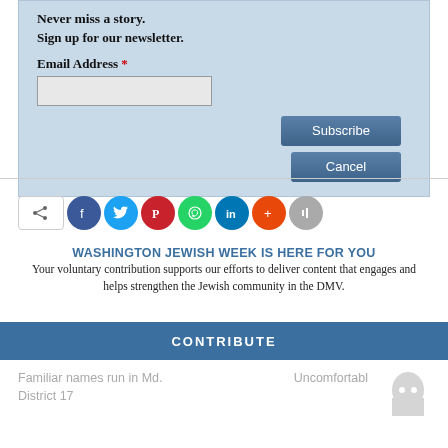Never miss a story.
Sign up for our newsletter.
Email Address *
[Figure (screenshot): Email subscription form with text input field, Subscribe button, and Cancel button on a light blue background]
[Figure (infographic): Social sharing buttons row: share (rectangle), Facebook (blue circle), Twitter (blue circle), Pinterest (red circle), WhatsApp (green circle), LinkedIn (blue circle), plus/add (orange circle), and count button (gray circle)]
WASHINGTON JEWISH WEEK IS HERE FOR YOU
Your voluntary contribution supports our efforts to deliver content that engages and helps strengthen the Jewish community in the DMV.
CONTRIBUTE
Familiar names run in Md. District 17
Uncomfortabl